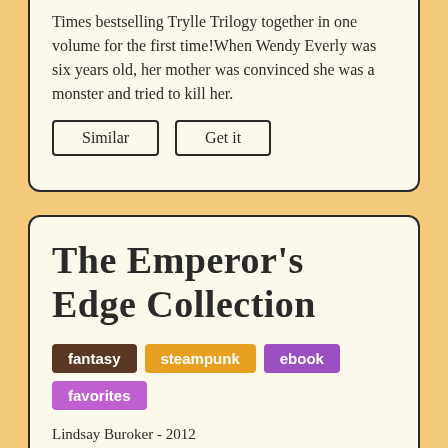Times bestselling Trylle Trilogy together in one volume for the first time! When Wendy Everly was six years old, her mother was convinced she was a monster and tried to kill her.
Similar   Get it
The Emperor's Edge Collection
fantasy   steampunk   ebook   favorites
Lindsay Buroker - 2012
For those who enjoy heroic fantasy, steampunk, and heroes who are just